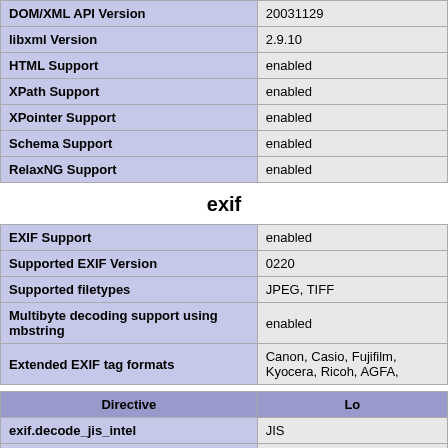|  |  |
| --- | --- |
| DOM/XML API Version | 20031129 |
| libxml Version | 2.9.10 |
| HTML Support | enabled |
| XPath Support | enabled |
| XPointer Support | enabled |
| Schema Support | enabled |
| RelaxNG Support | enabled |
exif
|  |  |
| --- | --- |
| EXIF Support | enabled |
| Supported EXIF Version | 0220 |
| Supported filetypes | JPEG, TIFF |
| Multibyte decoding support using mbstring | enabled |
| Extended EXIF tag formats | Canon, Casio, Fujifilm, Kyocera, Ricoh, AGFA, |
| Directive | Lo |
| --- | --- |
| exif.decode_jis_intel | JIS |
| exif.decode_jis_motorola | JIS |
| exif.decode_unicode_intel | UCS-2LE |